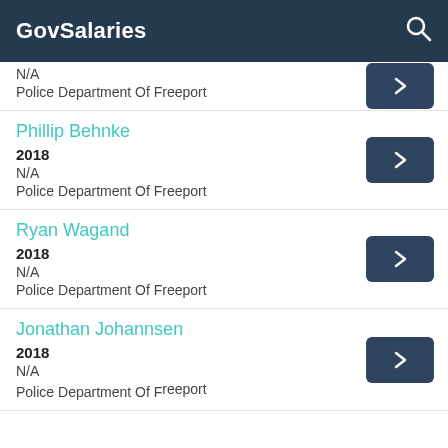GovSalaries
N/A
Police Department Of Freeport
Phillip Behnke
2018
N/A
Police Department Of Freeport
Ryan Wagand
2018
N/A
Police Department Of Freeport
Jonathan Johannsen
2018
N/A
Police Department Of Freeport